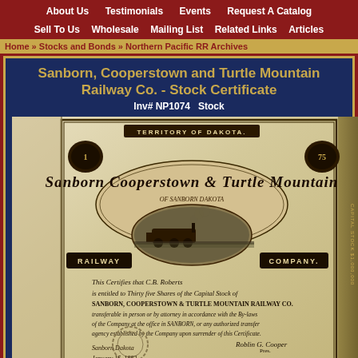About Us   Testimonials   Events   Request A Catalog   Sell To Us   Wholesale   Mailing List   Related Links   Articles
Home » Stocks and Bonds » Northern Pacific RR Archives
Sanborn, Cooperstown and Turtle Mountain Railway Co. - Stock Certificate
Inv# NP1074   Stock
[Figure (photo): Antique stock certificate for Sanborn, Cooperstown and Turtle Mountain Railway Company, Territory of Dakota. Ornate engraved certificate featuring decorative typography, a central vignette with a steam locomotive scene, and handwritten text indicating shares issued to C.B. Roberts for Thirty five shares, signed and dated January 15, 1883, from Sanborn, Dakota.]